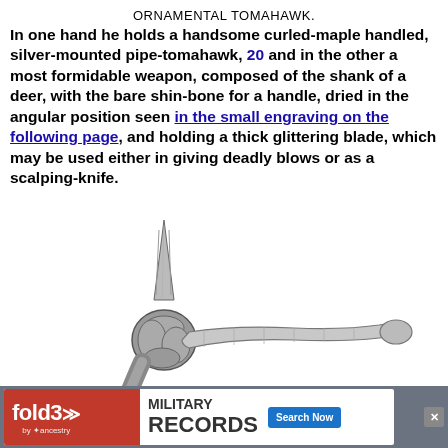ORNAMENTAL TOMAHAWK.
In one hand he holds a handsome curled-maple handled, silver-mounted pipe-tomahawk, 20 and in the other a most formidable weapon, composed of the shank of a deer, with the bare shin-bone for a handle, dried in the angular position seen in the small engraving on the following page, and holding a thick glittering blade, which may be used either in giving deadly blows or as a scalping-knife.
[Figure (illustration): Engraving of an ornamental tomahawk showing a blade with pointed tip mounted on a bone handle wrapped with cord or sinew, viewed horizontally.]
[Figure (other): Advertisement banner for Fold3 Military Records by Ancestry, with red logo, military records text, and Search Now button.]